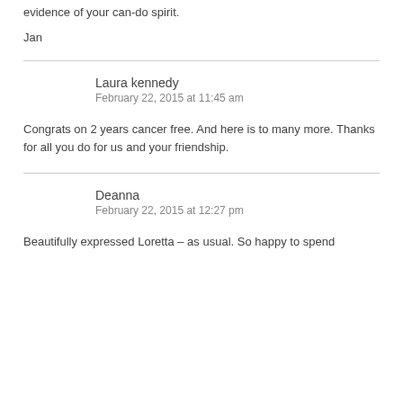evidence of your can-do spirit.
Jan
Laura kennedy
February 22, 2015 at 11:45 am
Congrats on 2 years cancer free. And here is to many more. Thanks for all you do for us and your friendship.
Deanna
February 22, 2015 at 12:27 pm
Beautifully expressed Loretta – as usual. So happy to spend